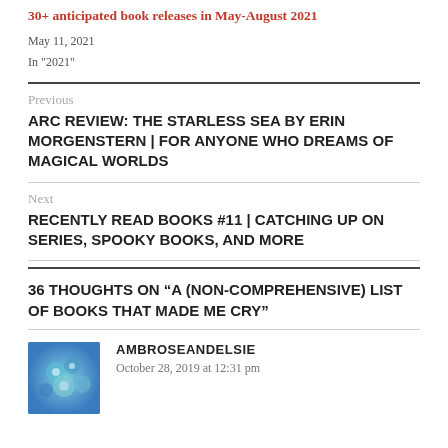30+ anticipated book releases in May-August 2021
May 11, 2021
In "2021"
Previous
ARC REVIEW: THE STARLESS SEA BY ERIN MORGENSTERN | FOR ANYONE WHO DREAMS OF MAGICAL WORLDS
Next
RECENTLY READ BOOKS #11 | CATCHING UP ON SERIES, SPOOKY BOOKS, AND MORE
36 THOUGHTS ON “A (NON-COMPREHENSIVE) LIST OF BOOKS THAT MADE ME CRY”
AMBROSEANDELSIE
October 28, 2019 at 12:31 pm